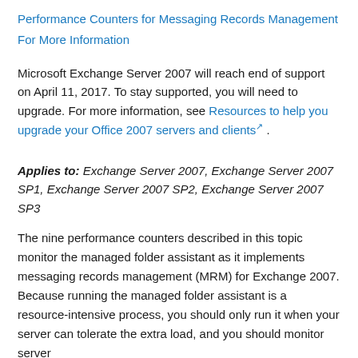Performance Counters for Messaging Records Management
For More Information
Microsoft Exchange Server 2007 will reach end of support on April 11, 2017. To stay supported, you will need to upgrade. For more information, see Resources to help you upgrade your Office 2007 servers and clients.
Applies to: Exchange Server 2007, Exchange Server 2007 SP1, Exchange Server 2007 SP2, Exchange Server 2007 SP3
The nine performance counters described in this topic monitor the managed folder assistant as it implements messaging records management (MRM) for Exchange 2007. Because running the managed folder assistant is a resource-intensive process, you should only run it when your server can tolerate the extra load, and you should monitor server